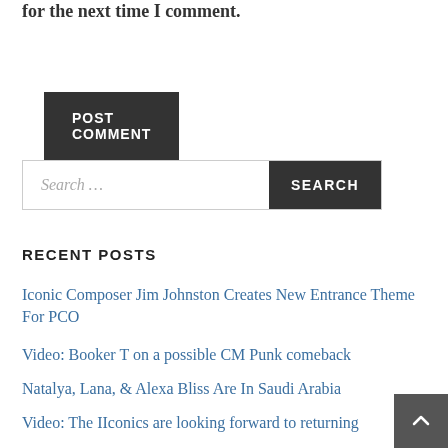for the next time I comment.
POST COMMENT
Search …
RECENT POSTS
Iconic Composer Jim Johnston Creates New Entrance Theme For PCO
Video: Booker T on a possible CM Punk comeback
Natalya, Lana, & Alexa Bliss Are In Saudi Arabia
Video: The IIconics are looking forward to returning to Australia
Four talents report to the WWE Performance